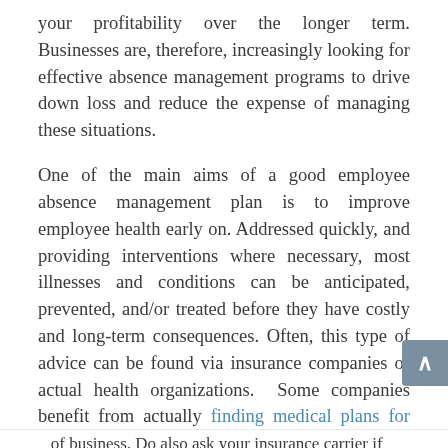your profitability over the longer term. Businesses are, therefore, increasingly looking for effective absence management programs to drive down loss and reduce the expense of managing these situations.
One of the main aims of a good employee absence management plan is to improve employee health early on. Addressed quickly, and providing interventions where necessary, most illnesses and conditions can be anticipated, prevented, and/or treated before they have costly and long-term consequences. Often, this type of advice can be found via insurance companies or actual health organizations.  Some companies benefit from actually finding medical plans for employees where applicable.
For example, places like the Scoliosis Institute can give information about spine care and how it might affect workers. The best thing you can do is research companies that could be of service to your specific type of business. Do also ask your insurance carrier if